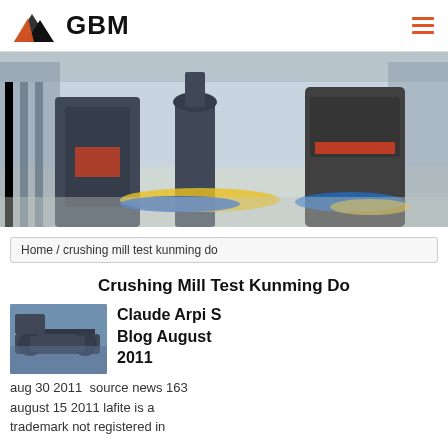[Figure (logo): GBM logo with mountain/triangle graphic in black and orange-red, with bold text 'GBM']
[Figure (photo): Industrial factory floor with large grey crushing/milling machines arranged in a row inside a bright warehouse with metal scaffolding]
Home / crushing mill test kunming do
Crushing Mill Test Kunming Do
[Figure (photo): Thumbnail of industrial conveyor/crushing equipment outdoors]
Claude Arpi S Blog August 2011
aug 30 2011  source news 163 august 15 2011 lafite is a trademark not registered in